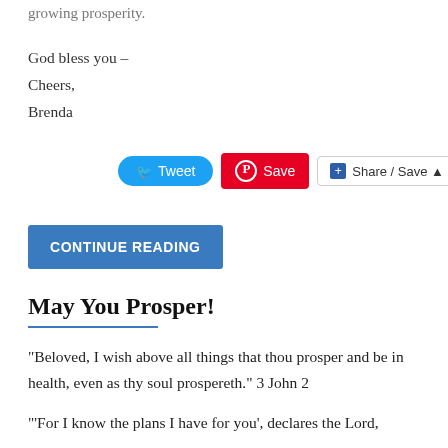growing prosperity.
God bless you –
Cheers,
Brenda
[Figure (other): Social sharing buttons: Tweet (Twitter), Save (Pinterest), Share / Save (AddThis)]
CONTINUE READING
May You Prosper!
"Beloved, I wish above all things that thou prosper and be in health, even as thy soul prospereth." 3 John 2
"'For I know the plans I have for you', declares the Lord,